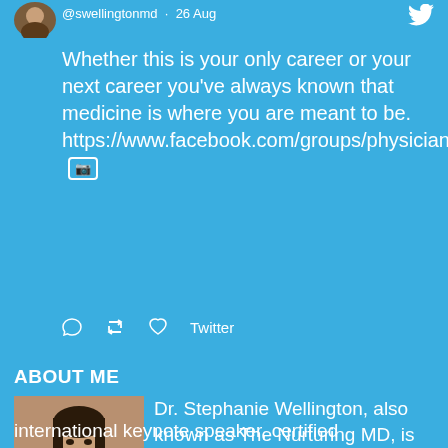[Figure (screenshot): Small cropped profile photo of Dr. Stephanie Wellington at top left of tweet]
@swellingtonmd · 26 Aug
[Figure (logo): Twitter bird icon top right]
Whether this is your only career or your next career you’ve always known that medicine is where you are meant to be. https://www.facebook.com/groups/physiciansonpurposefb
[Figure (other): Image/photo icon inline with tweet text]
Twitter
ABOUT ME
[Figure (photo): Headshot photo of Dr. Stephanie Wellington]
Dr. Stephanie Wellington, also known as The Nurturing MD, is an award-winning physician, international keynote speaker, certified